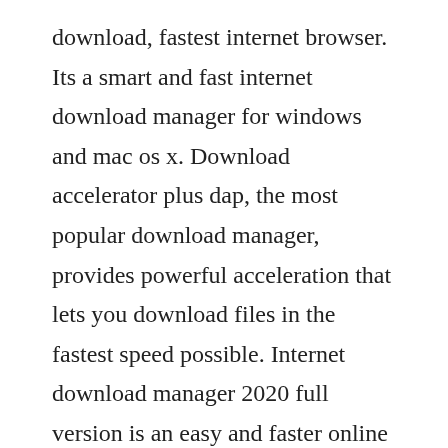download, fastest internet browser. Its a smart and fast internet download manager for windows and mac os x. Download accelerator plus dap, the most popular download manager, provides powerful acceleration that lets you download files in the fastest speed possible. Internet download manager 2020 full version is an easy and faster online file download software. Free internet download manager idm is a program that helps you schedule downloads, manage those downloads in batches and queues and even maximize download speed performance. Unlike